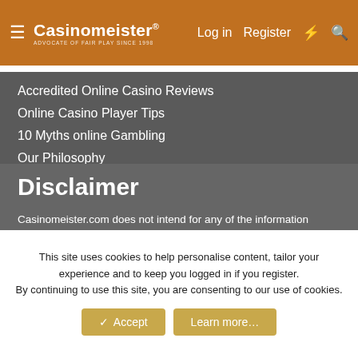Casinomeister® — Log in  Register
Accredited Online Casino Reviews
Online Casino Player Tips
10 Myths online Gambling
Our Philosophy
Disclaimer
Casinomeister.com does not intend for any of the information contained on this website to be used for illegal purposes. You must ensure you meet all age and other regulatory requirements before entering a casino or placing a wager. Online gambling is illegal in many jurisdictions and users should consult legal counsel regarding the legal status of online gambling and gaming in their jurisdictions. The information in this site is for news and entertainment purposes only. Casinomeister.com is an independent directory and information service free of any gaming operator's control. Links to third party websites on Casinomeister.com are provided solely for
This site uses cookies to help personalise content, tailor your experience and to keep you logged in if you register.
By continuing to use this site, you are consenting to our use of cookies.